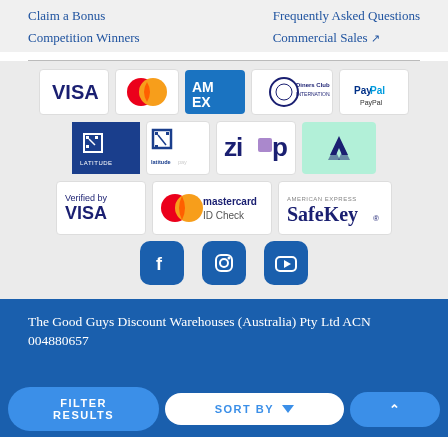Claim a Bonus
Competition Winners
Frequently Asked Questions
Commercial Sales ↗
[Figure (logo): Payment and security logos: Visa, Mastercard, American Express, Diners Club International, PayPal, Latitude, LatitudePay, Zip, Afterpay, Verified by Visa, Mastercard ID Check, American Express SafeKey. Social media icons: Facebook, Instagram, YouTube.]
The Good Guys Discount Warehouses (Australia) Pty Ltd ACN 004880657
FILTER RESULTS   SORT BY   ▲